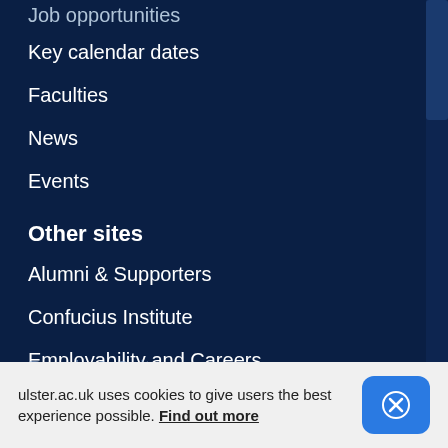Job opportunities
Key calendar dates
Faculties
News
Events
Other sites
Alumni & Supporters
Confucius Institute
Employability and Careers
Finance Department
Flexible Education
People & Culture
ulster.ac.uk uses cookies to give users the best experience possible. Find out more